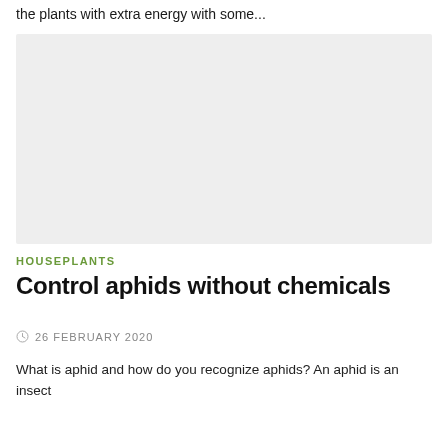the plants with extra energy with some...
[Figure (photo): Large light grey placeholder image block for a houseplants article]
HOUSEPLANTS
Control aphids without chemicals
26 FEBRUARY 2020
What is aphid and how do you recognize aphids? An aphid is an insect